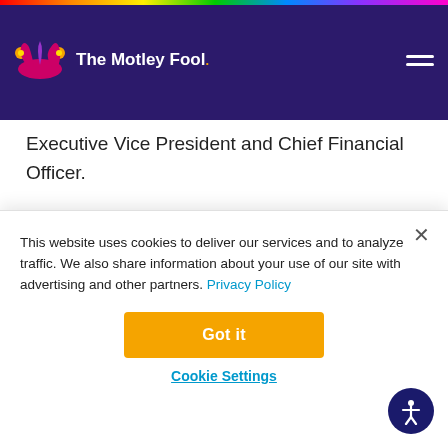The Motley Fool
Executive Vice President and Chief Financial Officer.
INVEST SMARTER WITH THE MOTLEY FOOL
Join Over 1 Million Premium Members Receiving...
This website uses cookies to deliver our services and to analyze traffic. We also share information about your use of our site with advertising and other partners. Privacy Policy
Got it
Cookie Settings